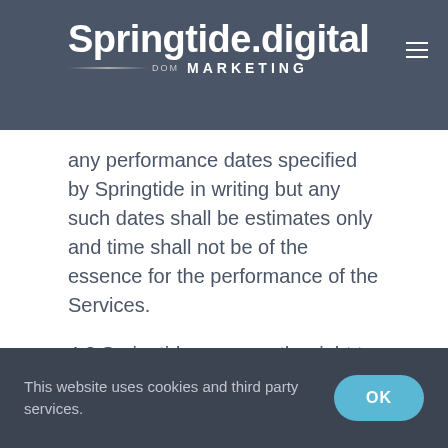Springtide.digital DOM MARKETING
4.2 Springtide may from time to time provide an updated Specification for the Services and shall use reasonable endeavours to meet any performance dates specified by Springtide in writing but any such dates shall be estimates only and time shall not be of the essence for the performance of the Services.
4.3 Springtide reserves the right to amend the Specification if necessary to comply with any Applicable Laws or regulatory requirement, or if the amendment will not materially affect the
This website uses cookies and third party services. OK